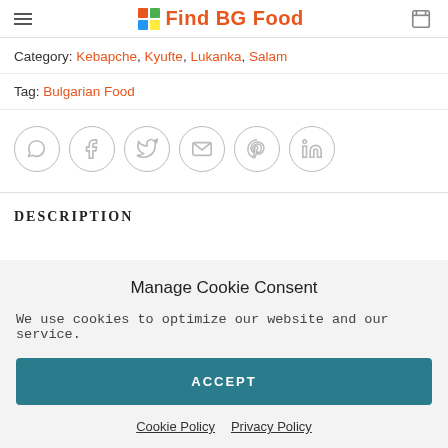Find BG Food
Category: Kebapche, Kyufte, Lukanka, Salam
Tag: Bulgarian Food
[Figure (other): Social share buttons: WhatsApp, Facebook, Twitter, Email, Pinterest, LinkedIn]
DESCRIPTION
Manage Cookie Consent
We use cookies to optimize our website and our service.
ACCEPT
Cookie Policy   Privacy Policy